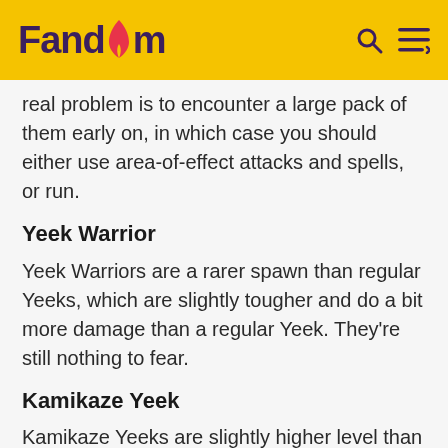Fandom
real problem is to encounter a large pack of them early on, in which case you should either use area-of-effect attacks and spells, or run.
Yeek Warrior
Yeek Warriors are a rarer spawn than regular Yeeks, which are slightly tougher and do a bit more damage than a regular Yeek. They're still nothing to fear.
Kamikaze Yeek
Kamikaze Yeeks are slightly higher level than Regular Yeeks. They must be killed from range, lest they detonate their exposives and do massive damage to everything in a two-square radius of them. At higher levels and with better armor, you will barely take damage from Kamikaze